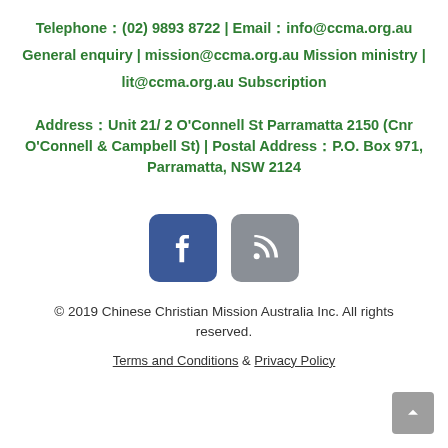Telephone：(02) 9893 8722 | Email：info@ccma.org.au General enquiry | mission@ccma.org.au Mission ministry | lit@ccma.org.au Subscription
Address：Unit 21/ 2 O'Connell St Parramatta 2150 (Cnr O'Connell & Campbell St) | Postal Address：P.O. Box 971, Parramatta, NSW 2124
[Figure (logo): Facebook icon button (blue rounded square) and a blog/RSS icon button (grey rounded square)]
© 2019 Chinese Christian Mission Australia Inc. All rights reserved.
Terms and Conditions & Privacy Policy